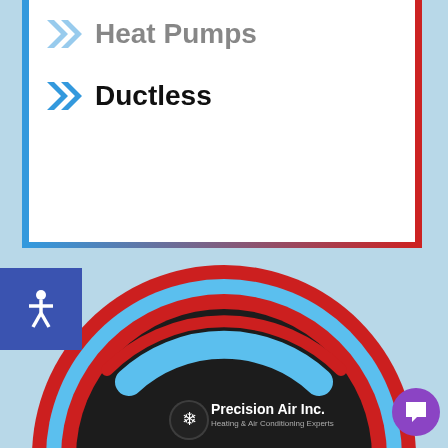Heat Pumps
Ductless
[Figure (logo): Precision Air Inc. logo with snowflake icon]
$99 Tune-up Appointment
[Figure (infographic): Circular promotional badge with red and blue rings showing $99 Tune-up Appointment offer from Precision Air Inc.]